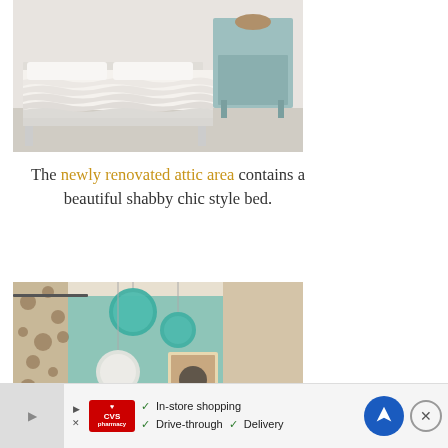[Figure (photo): A bed with white ruffled/layered bedding and a light blue bedside table in the background, on a light carpet floor.]
The newly renovated attic area contains a beautiful shabby chic style bed.
[Figure (photo): A room with a light teal/mint wall, teal pom-pom decorations hanging from the ceiling, floral curtains, and a framed picture on the wall.]
[Figure (infographic): CVS Pharmacy advertisement banner showing: In-store shopping, Drive-through, Delivery options with a navigation arrow icon and close button.]